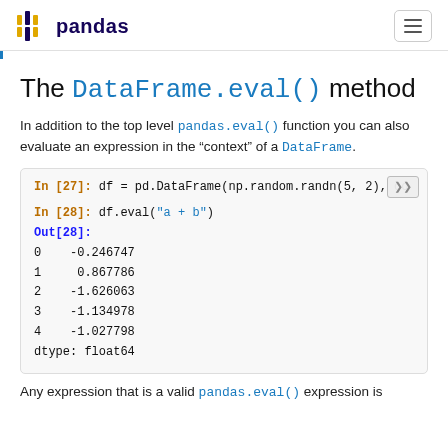pandas
The DataFrame.eval() method
In addition to the top level pandas.eval() function you can also evaluate an expression in the “context” of a DataFrame.
[Figure (screenshot): Code block showing: In [27]: df = pd.DataFrame(np.random.randn(5, 2), co... / In [28]: df.eval("a + b") / Out[28]: / 0  -0.246747 / 1   0.867786 / 2  -1.626063 / 3  -1.134978 / 4  -1.027798 / dtype: float64]
Any expression that is a valid pandas.eval() expression is